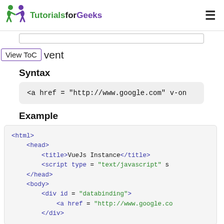TutorialsforGeeks
View ToC  vent
Syntax
<a href = "http://www.google.com" v-on
Example
<html>
    <head>
        <title>VueJs Instance</title>
        <script type = "text/javascript" s
    </head>
    <body>
        <div id = "databinding">
            <a href = "http://www.google.co
        </div>